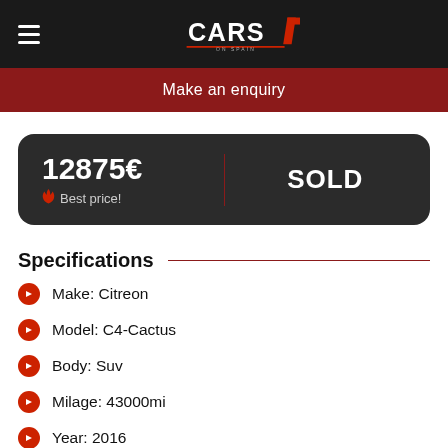CARS on Spain
Make an enquiry
12875€ SOLD Best price!
Specifications
Make: Citreon
Model: C4-Cactus
Body: Suv
Milage: 43000mi
Year: 2016